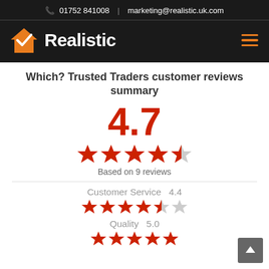📞 01752 841008  |  marketing@realistic.uk.com
[Figure (logo): Realistic logo with orange house and checkmark icon, white text 'Realistic' on dark background, hamburger menu icon]
Which? Trusted Traders customer reviews summary
4.7
[Figure (infographic): 4.7 out of 5 stars rating shown as 4 full red stars and 1 partial star]
Based on 9 reviews
Customer Service  4.4
[Figure (infographic): 4.4 stars: 4 full red stars and partial gray star for Customer Service]
Quality  5.0
[Figure (infographic): 5.0 stars: 5 full red stars for Quality]